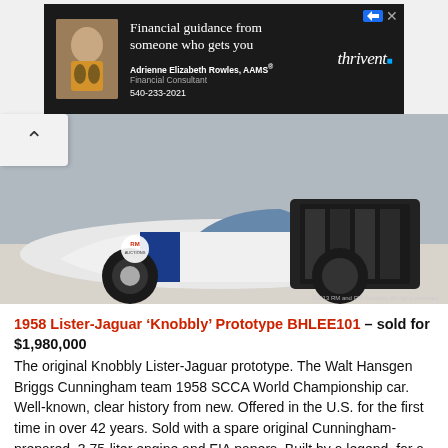[Figure (photo): Advertisement banner for Thrivent Financial with dark background, photo of Adrienne Elizabeth Rowles with a horse, showing name, title Financial Consultant, phone 540-233-2021 and Thrivent logo]
[Figure (photo): Photo of a 1958 Lister-Jaguar Knobbly Prototype racing car, white with blue racing stripes, viewed from front-left angle showing the engine bay open]
1958 Lister-Jaguar ‘Knobbly’ Prototype BHLEE101 – sold for $1,980,000
The original Knobbly Lister-Jaguar prototype. The Walt Hansgen Briggs Cunningham team 1958 SCCA World Championship car. Well-known, clear history from new. Offered in the U.S. for the first time in over 42 years. Sold with a spare original Cunningham-prepared, 3.75-liter engine and FIA papers. Built by a legend, for a legend, and driven by legends; unparalleled provenance.
Auction Source: 2013 Monterey Auction by RM Auctions